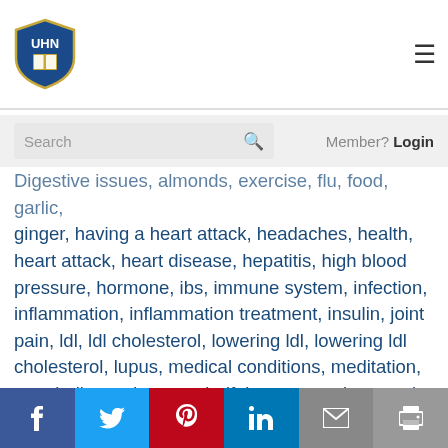[Figure (logo): UHN shield logo with book icon in blue and gold]
Search
Member? Login
Digestive issues, almonds, exercise, flu, food, garlic, ginger, having a heart attack, headaches, health, heart attack, heart disease, hepatitis, high blood pressure, hormone, ibs, immune system, infection, inflammation, inflammation treatment, insulin, joint pain, ldl, ldl cholesterol, lowering ldl, lowering ldl cholesterol, lupus, medical conditions, meditation, metabolic syndrome, mindfulness, muscle, muscle pain, nsaids, nutrition, nuts, obesity, osteoporosis, pain, peptic ulcer, protein, reduce inflammation, rheumatoid, rheumatoid arthritis, sinusitis, skin, sleep, sore throat, spices, statins, stress, stress reduction,
f  twitter  pinterest  in  email  print